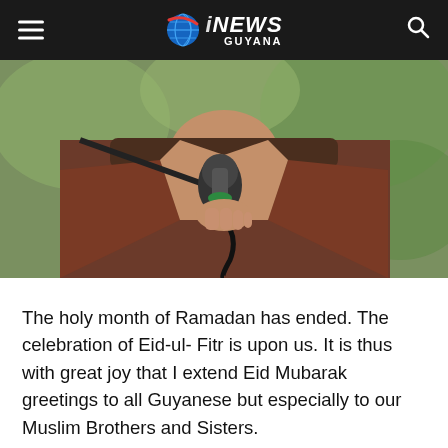iNEWS GUYANA
[Figure (photo): A person speaking into a microphone, holding the mic stand, wearing a dark reddish-brown jacket, photographed from the neck down with a blurred green background.]
The holy month of Ramadan has ended. The celebration of Eid-ul- Fitr is upon us. It is thus with great joy that I extend Eid Mubarak greetings to all Guyanese but especially to our Muslim Brothers and Sisters.
I have always admired the humility, purposefulness and